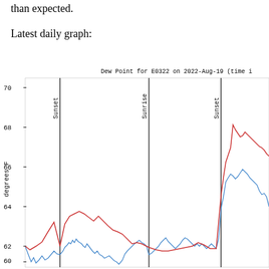than expected.
Latest daily graph:
[Figure (continuous-plot): Dew Point line chart for E0322 on 2022-Aug-19. Two lines (red and blue) plotted over time with Sunset and Sunrise vertical markers. Y-axis: degrees F, ranging from below 60 to 70. The red line is generally higher than blue. Both lines show dew point variation across sunset-to-sunrise-to-sunset period.]